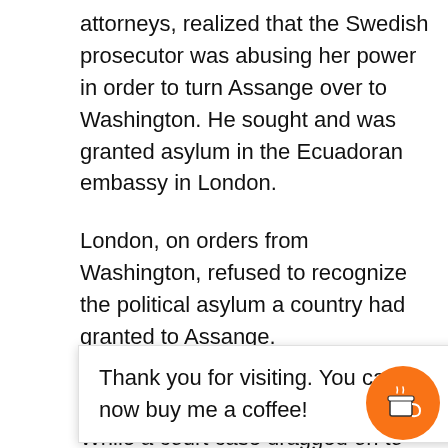attorneys, realized that the Swedish prosecutor was abusing her power in order to turn Assange over to Washington. He sought and was granted asylum in the Ecuadoran embassy in London.
London, on orders from Washington, refused to recognize the political asylum a country had granted to Assange.
Washington went to work to replace the Ecuadoran president with Washington's man.  When this object was achieved, Washington's president of Ecuador revoked the asylum, and on Washington's orders,
Thank you for visiting. You can now buy me a coffee!
While a court case dragged on to decide whether or